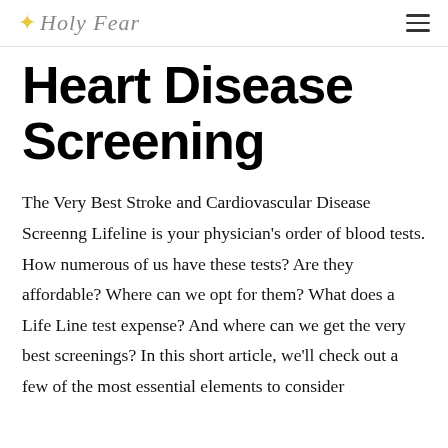Holy Fear
Heart Disease Screening
The Very Best Stroke and Cardiovascular Disease Screenng Lifeline is your physician's order of blood tests. How numerous of us have these tests? Are they affordable? Where can we opt for them? What does a Life Line test expense? And where can we get the very best screenings? In this short article, we'll check out a few of the most essential elements to consider